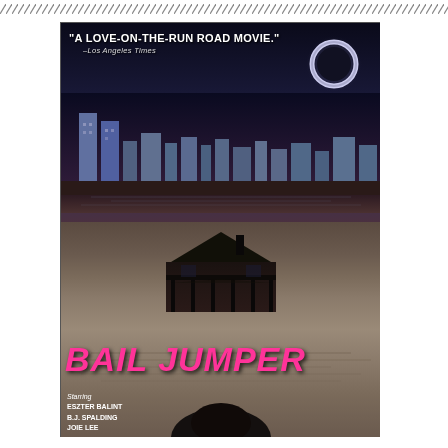////////////////////////////////////////////////////////////////////////////////////////////////////////////////////
[Figure (photo): VHS cover art for the movie 'Bail Jumper'. Top half shows a dark city skyline at night with a solar eclipse/moon in the upper right corner. White bold text reads "A LOVE-ON-THE-RUN ROAD MOVIE." with attribution to Los Angeles Times. Bottom half shows a house on water with reflections, and the title 'BAIL JUMPER' in large pink/magenta graffiti-style letters. Credits at bottom left read: Starring ESZTER BALINT, B.J. SPALDING, JOIE LEE.]